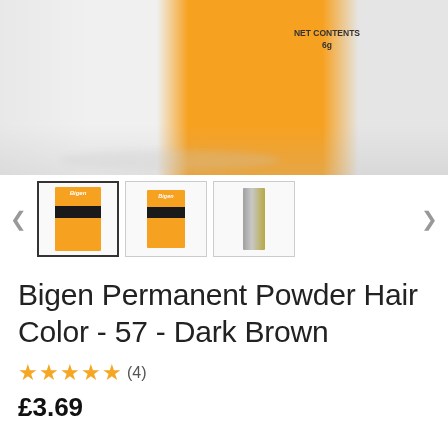[Figure (photo): Main product image of Bigen Permanent Powder Hair Color box showing orange and white packaging with NET CONTENTS 6g label, with reflection below]
[Figure (photo): Thumbnail carousel showing three views of Bigen hair color box product: front view (selected), front view smaller, and side view, with left and right navigation arrows]
Bigen Permanent Powder Hair Color - 57 - Dark Brown
★★★★★ (4)
£3.69